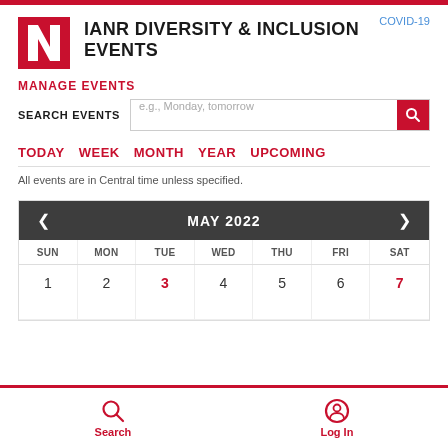COVID-19
IANR DIVERSITY & INCLUSION EVENTS
MANAGE EVENTS
SEARCH EVENTS  e.g., Monday, tomorrow
TODAY  WEEK  MONTH  YEAR  UPCOMING
All events are in Central time unless specified.
| SUN | MON | TUE | WED | THU | FRI | SAT |
| --- | --- | --- | --- | --- | --- | --- |
| 1 | 2 | 3 | 4 | 5 | 6 | 7 |
Search
Log In